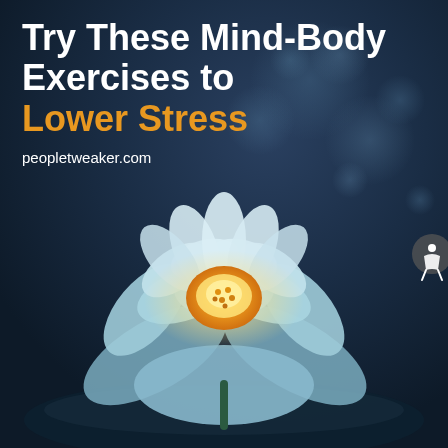Try These Mind-Body Exercises to Lower Stress
peopletweaker.com
[Figure (photo): A glowing white and yellow lotus flower floating on dark water, with soft blue bokeh background. The flower is centered in the lower two-thirds of the image.]